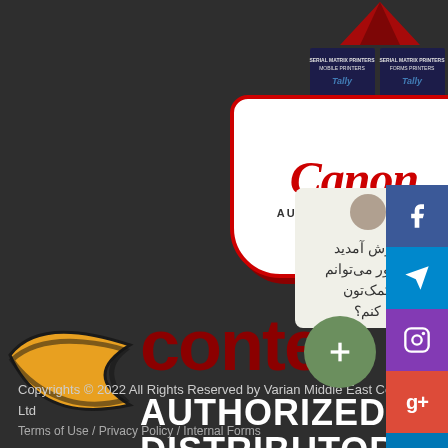[Figure (logo): Tally product brochures/books shown at top center of page]
[Figure (logo): Canon Authorized Dealer badge - white rounded rectangle with red Canon logo and AUTHORIZED DEALER text]
[Figure (logo): Contex Authorized Distributor logo - yellow/black swoosh icon with dark red CONTEX text and white AUTHORIZED DISTRIBUTOR text below]
[Figure (other): Chat widget with Arabic text (welcome/how can we help) and avatar silhouette]
[Figure (other): Social media sidebar with Facebook, Telegram, Instagram, Google+, LinkedIn icons]
[Figure (other): Green circular chat/support button with white icon]
Copyrights © 2022 All Rights Reserved by Varian Middle East Co. Ltd
Terms of Use / Privacy Policy / Internal Forms